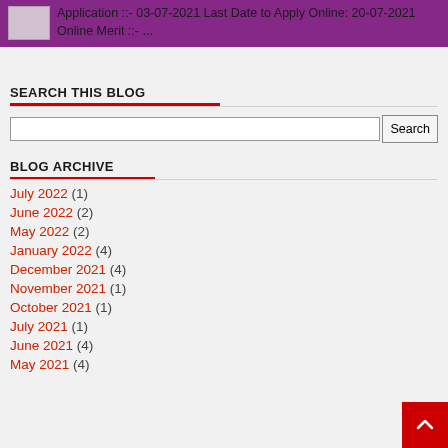[Figure (other): Purple banner with thumbnail image and text about application dates: Application ::- 03-07-2021 Last Date to Apply Online: 20-07-2021 Online Merit ::- ...]
SEARCH THIS BLOG
[Figure (other): Search input box with Search button]
BLOG ARCHIVE
July 2022 (1)
June 2022 (2)
May 2022 (2)
January 2022 (4)
December 2021 (4)
November 2021 (1)
October 2021 (1)
July 2021 (1)
June 2021 (4)
May 2021 (4)